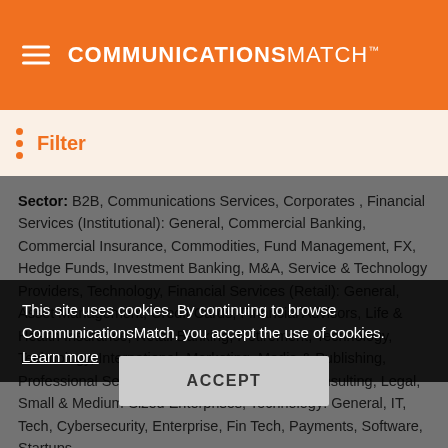COMMUNICATIONSMATCH™
Filter
Sector: B2B, Communications Services, Corporates , Financial Services (Institutional): General, Commercial Banking, Commercial Insurance, Commodities, Fund Management, FX, Hedge Funds, Investment Banking, M&A, Service & Technology Providers, Technology, Financial Services (Retail): General, Asset Management, Credit Cards, Financial Advisors, Life & Health Insurance, Retail Banking, Retirement, Technology, Technology, International, Marketing, Media & Publishing, Professional Services: General, Accounting, Consulting, Legal, Small & Medium-Sized Enterprises, Technology: General, IT, Tech, Cybersecurity, Enterprise, Fin Tech, Payments, Software, Startups.
Expertise: Full Service, Agency Development/Consulting, B2B, Branding, Bylined/Op..., IPOs, Communications Coa..., nt, Conferences and Conventions, Content Marketing/Creation, Copy Writing, Corporate Communications, Crisis Communications, email Marketing, Events, Executive Coaching, Executive Communications, Internal
This site uses cookies. By continuing to browse CommunicationsMatch, you accept the use of cookies. Learn more
ACCEPT